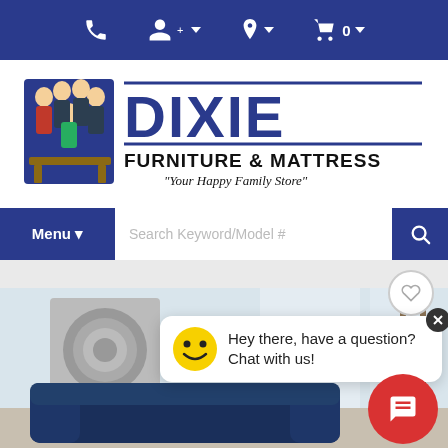Navigation bar with phone, account, location, and cart icons
[Figure (logo): Dixie Furniture & Mattress logo with cartoon family characters and text: DIXIE FURNITURE & MATTRESS 'Your Happy Family Store']
[Figure (screenshot): Website menu bar with 'Menu' button and 'Search Keyword/Model #' search box]
[Figure (screenshot): Website UI showing a heart/wishlist icon, a chat popup with smiley face saying 'Hey there, have a question? Chat with us!', a red chat FAB button, and a living room product photo with a dark blue sofa]